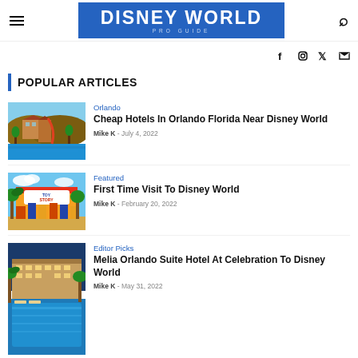DISNEY WORLD PRO GUIDE
f  Instagram  Twitter  YouTube
POPULAR ARTICLES
[Figure (photo): Resort hotel with waterslide and blue pool]
Orlando
Cheap Hotels In Orlando Florida Near Disney World
Mike K  -  July 4, 2022
[Figure (photo): Toy Story Land entrance with colorful decorations and palm trees]
Featured
First Time Visit To Disney World
Mike K  -  February 20, 2022
[Figure (photo): Outdoor pool area of a hotel with palm trees and blue sky]
Editor Picks
Melia Orlando Suite Hotel At Celebration To Disney World
Mike K  -  May 31, 2022